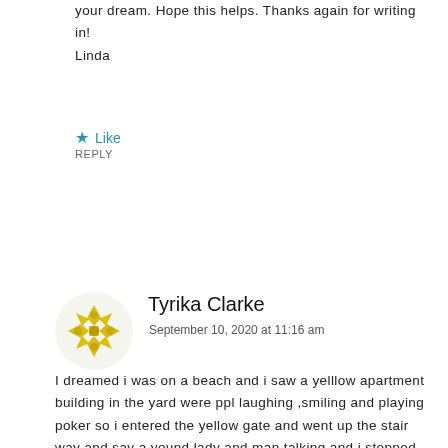your dream. Hope this helps. Thanks again for writing in! Linda
★ Like
REPLY
Tyrika Clarke
September 10, 2020 at 11:16 am
I dreamed i was on a beach and i saw a yelllow apartment building in the yard were ppl laughing ,smiling and playing poker so i entered the yellow gate and went up the stair way and say a yound lady and man talking and i stopped apparently it was my daughter and husband and she was wearing a red shirt and red lipstick like me so i walked back down the stairs and towards the sea exiting the gate im at the seashore staring at the sea as i looked to my left and